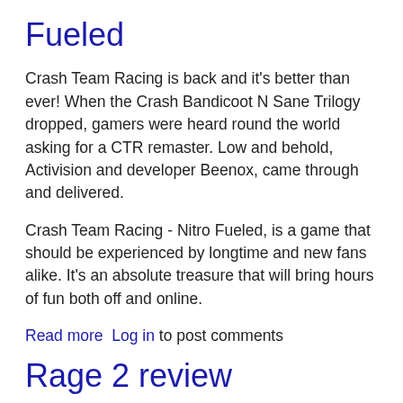Fueled
Crash Team Racing is back and it's better than ever! When the Crash Bandicoot N Sane Trilogy dropped, gamers were heard round the world asking for a CTR remaster. Low and behold, Activision and developer Beenox, came through and delivered.
Crash Team Racing - Nitro Fueled, is a game that should be experienced by longtime and new fans alike. It’s an absolute treasure that will bring hours of fun both off and online.
Read more   Log in to post comments
Rage 2 review
Nearly 8 years after the original release, RAGE 2 has dropped. I hold the original dear to me heart, and while I thoroughly enjoyed RAGE 2, it did not offer me the same